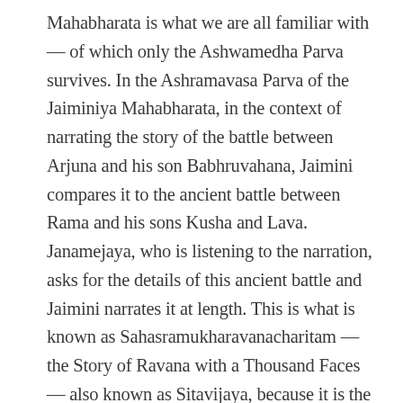Mahabharata is what we are all familiar with — of which only the Ashwamedha Parva survives. In the Ashramavasa Parva of the Jaiminiya Mahabharata, in the context of narrating the story of the battle between Arjuna and his son Babhruvahana, Jaimini compares it to the ancient battle between Rama and his sons Kusha and Lava. Janamejaya, who is listening to the narration, asks for the details of this ancient battle and Jaimini narrates it at length. This is what is known as Sahasramukharavanacharitam — the Story of Ravana with a Thousand Faces — also known as Sitavijaya, because it is the story of Sita's victory over Sahasramukha Ravana. When five sons of Durvasa start terrorising the